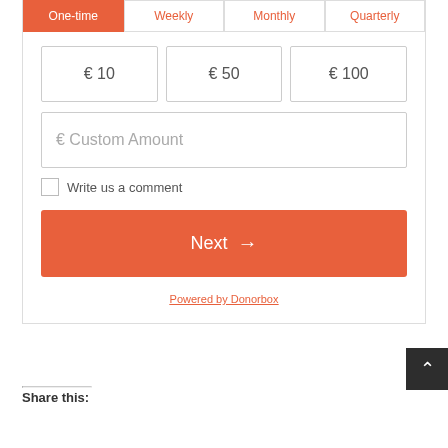One-time | Weekly | Monthly | Quarterly
€ 10
€ 50
€ 100
€ Custom Amount
Write us a comment
Next →
Powered by Donorbox
Share this: